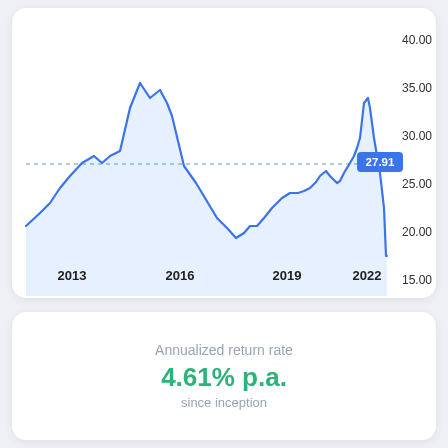[Figure (continuous-plot): Line chart showing price history from 2013 to 2022. Y-axis labels: 15.00, 20.00, 25.00, 30.00, 35.00, 40.00. X-axis labels: 2013, 2016, 2019, 2022. A dashed horizontal line at ~27.91. Current value label: 27.91 shown in a blue badge.]
Annualized return rate
4.61% p.a.
since inception